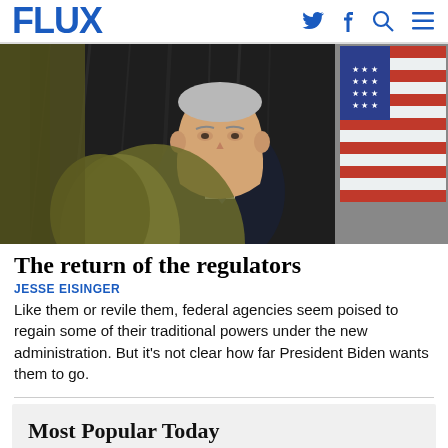FLUX
[Figure (photo): A man in a dark suit speaking at a podium with an American flag visible in the background, and a blurred olive-colored figure in the foreground.]
The return of the regulators
JESSE EISINGER
Like them or revile them, federal agencies seem poised to regain some of their traditional powers under the new administration. But it's not clear how far President Biden wants them to go.
Most Popular Today